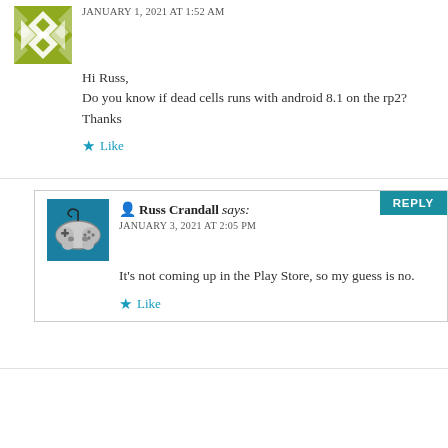JANUARY 1, 2021 AT 1:52 AM
Hi Russ,
Do you know if dead cells runs with android 8.1 on the rp2?
Thanks
Like
Russ Crandall says:
JANUARY 3, 2021 AT 2:05 PM
It's not coming up in the Play Store, so my guess is no.
Like
Tony says:
JANUARY 2, 2021 AT 7:26 PM